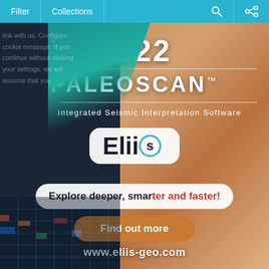Filter   Collections
[Figure (advertisement): Eliis PaleoScan 2022 advertisement showing a split background of dark teal/navy on the left and layered sandstone canyon rock on the right, with teal diagonal overlay. Contains the year 2022, brand name PALEOSCAN with TM, tagline 'Integrated Seismic Interpretation Software', Eliis logo, a white pill button 'Explore deeper, smarter and faster!', an orange pill button 'Find out more', and website www.eliis-geo.com]
2022
PALEOSCAN™
Integrated Seismic Interpretation Software
[Figure (logo): Eliis company logo in white rounded rectangle box, dark text 'Eliis' with blue-green 's' character]
Explore deeper, smarter and faster!
Find out more
www.eliis-geo.com